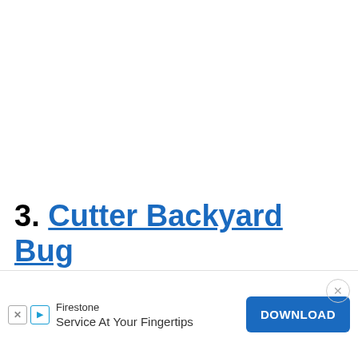3. Cutter Backyard Bug Control
[Figure (screenshot): Advertisement overlay at bottom of page. Shows Firestone branding with text 'Service At Your Fingertips', a blue DOWNLOAD button, close (X) button, and small icon buttons.]